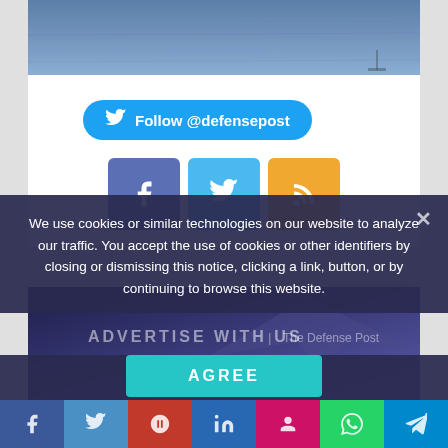[Figure (photo): Ocean/sea water surface photograph, blue-grey water]
Follow @defensepost
[Figure (infographic): Social media icon buttons: Facebook (purple-blue), Twitter (light blue), RSS (orange)]
[Figure (photo): Dark blue background with aircraft silhouette, ADVERTISE WITH US text and The Defense Post logo]
We use cookies or similar technologies on our website to analyze our traffic. You accept the use of cookies or other identifiers by closing or dismissing this notice, clicking a link, button, or by continuing to browse this website.
AGREE
[Figure (infographic): Bottom share bar with social icons: Facebook, Twitter, Google+, LinkedIn, Odnoklassniki, WhatsApp, Telegram]